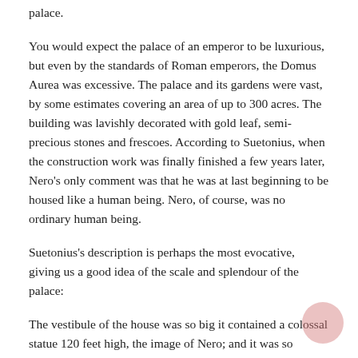palace.
You would expect the palace of an emperor to be luxurious, but even by the standards of Roman emperors, the Domus Aurea was excessive. The palace and its gardens were vast, by some estimates covering an area of up to 300 acres. The building was lavishly decorated with gold leaf, semi-precious stones and frescoes. According to Suetonius, when the construction work was finally finished a few years later, Nero's only comment was that he was at last beginning to be housed like a human being. Nero, of course, was no ordinary human being.
Suetonius's description is perhaps the most evocative, giving us a good idea of the scale and splendour of the palace:
The vestibule of the house was so big it contained a colossal statue 120 feet high, the image of Nero; and it was so extensive that it had three colonnades a mile long. There was a lake too, in fact a sea, surrounded with buildings as big as cities. Behind it were villas with fields, vineyards and pastures, woods filled with all kinds of wild and domestic animals. In the rest of the house everything was coated with gold and adorned with gems and shells. The dining-rooms had fretted ceilings made of ivory, with